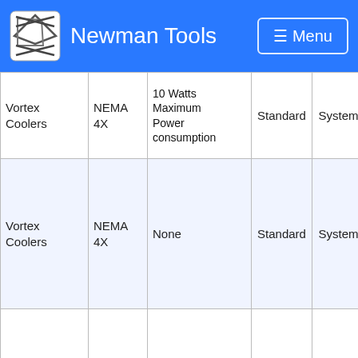Newman Tools  Menu
| Product | Enclosure | Options | Type | Package | BTU/Hr |
| --- | --- | --- | --- | --- | --- |
| Vortex Coolers | NEMA 4X | 10 Watts Maximum Power consumption | Standard | System | 35 |
| Vortex Coolers | NEMA 4X | 10 Watts Maximum Power consumption | Standard | System | 70 |
| Vortex Coolers | NEMA 4X | None | Standard | System | 15 |
| Vortex Coolers | NEMA 4X | None | Standard | System | 25 |
| Vortex Coolers | NEMA 4X | None | Standard | System | 35 |
| Vortex Coolers | NEMA 4X | None | Standard | System | 70 |
| Vortex Coolers | NEMA 4X | None | Standard | Cooler Only | 15 |
| Vortex Coolers | NEMA 4X | None | Standard | Cooler Only | 25 |
| Vortex Coolers | NEMA 4X | None | Standard | Cooler Only | 35 |